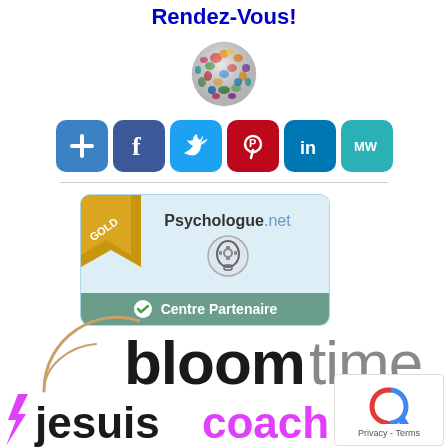Rendez-Vous!
[Figure (logo): Colorful geometric globe/sphere logo]
[Figure (infographic): Row of social media share buttons: plus/add, Facebook, Twitter, Pinterest, LinkedIn, MindWalk (MW)]
[Figure (logo): Psychologue.net Gold Centre Partenaire badge with psychology head icon]
[Figure (logo): Bloomtime logo with circular arc graphic]
[Figure (logo): Je suis coach logo text at bottom]
[Figure (other): Privacy - Terms reCAPTCHA box in bottom right corner]